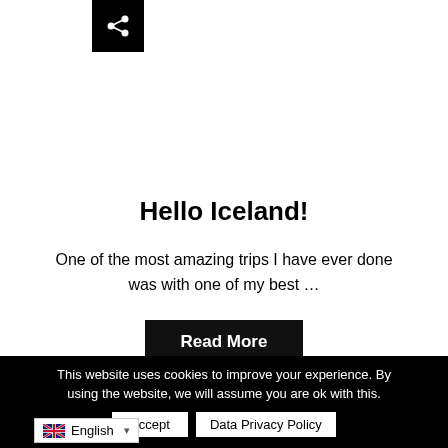[Figure (other): Share icon button — white share symbol on black square background]
Hello Iceland!
One of the most amazing trips I have ever done was with one of my best …
Read More
This website uses cookies to improve your experience. By using the website, we will assume you are ok with this.
Accept   Data Privacy Policy
English